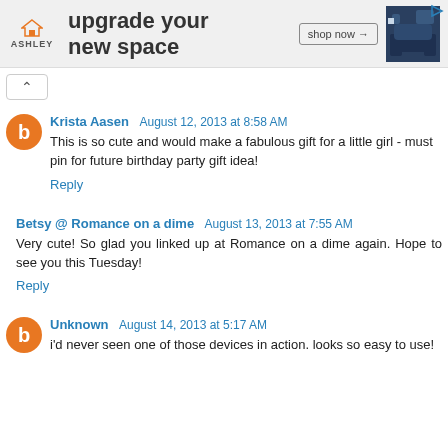[Figure (screenshot): Ashley Furniture advertisement banner: orange house logo, 'ASHLEY' text, 'upgrade your new space' headline, 'shop now' button, dark blue sofa image]
^ (collapse button)
Krista Aasen August 12, 2013 at 8:58 AM
This is so cute and would make a fabulous gift for a little girl - must pin for future birthday party gift idea!
Reply
Betsy @ Romance on a dime August 13, 2013 at 7:55 AM
Very cute! So glad you linked up at Romance on a dime again. Hope to see you this Tuesday!
Reply
Unknown August 14, 2013 at 5:17 AM
i'd never seen one of those devices in action. looks so easy to use!